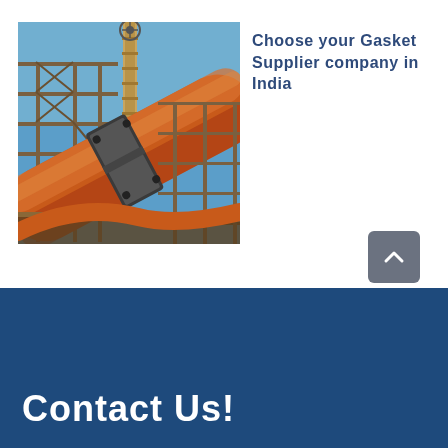[Figure (photo): Industrial photo showing large orange/rust-colored pipes and steel structures at an industrial plant or refinery, with a chimney stack visible in the background against a blue sky.]
Choose your Gasket Supplier company in India
[Figure (other): Gray rounded square button with an upward-pointing chevron/caret arrow, used as a scroll-to-top navigation element.]
Contact Us!